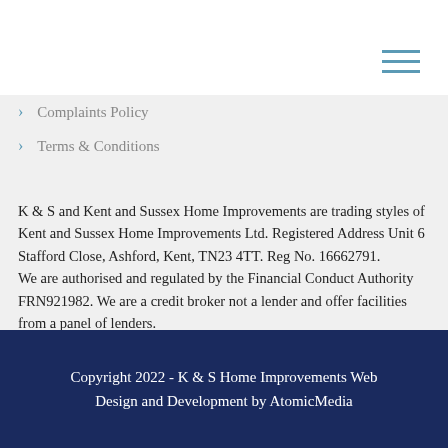Complaints Policy
Terms & Conditions
K & S and Kent and Sussex Home Improvements are trading styles of Kent and Sussex Home Improvements Ltd. Registered Address Unit 6 Stafford Close, Ashford, Kent, TN23 4TT. Reg No. 16662791.
We are authorised and regulated by the Financial Conduct Authority FRN921982. We are a credit broker not a lender and offer facilities from a panel of lenders.
Copyright 2022 - K & S Home Improvements Web Design and Development by AtomicMedia